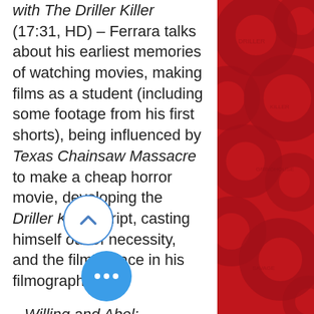with The Driller Killer (17:31, HD) – Ferrara talks about his earliest memories of watching movies, making films as a student (including some footage from his first shorts), being influenced by Texas Chainsaw Massacre to make a cheap horror movie, developing the Driller Killer script, casting himself out of necessity, and the film's place in his filmography.
Willing and Abel: Ferraraology 101 (34:19, HD) – A new visual essay/career primer on the director's films by Alexandra Heller-Nicholas, author of Cultographies: Ms. 45 (Wallflower Press, 2017). This